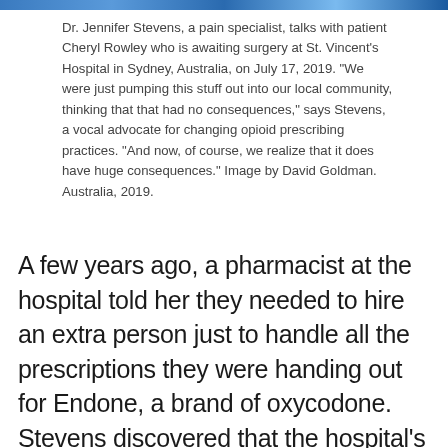[Figure (photo): Blue-toned image bar at top of page (partial photo visible)]
Dr. Jennifer Stevens, a pain specialist, talks with patient Cheryl Rowley who is awaiting surgery at St. Vincent's Hospital in Sydney, Australia, on July 17, 2019. "We were just pumping this stuff out into our local community, thinking that that had no consequences," says Stevens, a vocal advocate for changing opioid prescribing practices. "And now, of course, we realize that it does have huge consequences." Image by David Goldman. Australia, 2019.
A few years ago, a pharmacist at the hospital told her they needed to hire an extra person just to handle all the prescriptions they were handing out for Endone, a brand of oxycodone. Stevens discovered that the hospital’s Endone prescriptions had increased 500 percent in 8 years, with no decrease in other opioids dispensed. To the…